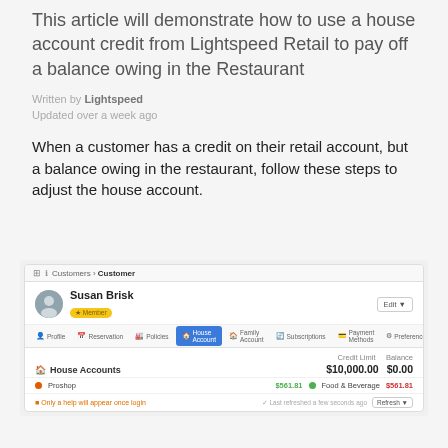This article will demonstrate how to use a house account credit from Lightspeed Retail to pay off a balance owing in the Restaurant
Written by Lightspeed
Updated over a week ago
When a customer has a credit on their retail account, but a balance owing in the restaurant, follow these steps to adjust the house account.
[Figure (screenshot): Screenshot of Lightspeed Retail customer profile for Susan Brisk (Member badge). Shows navigation breadcrumb Customers > Customer. Tabs: Profile, Reservation, Policies, House Account (active/blue), Family Account, Subscriptions, Payment Methods, Preferences. House Accounts section showing Credit Limit $10,000.00 and Balance $0.00. Row: Proshop $561.81 green, Food & Beverage $561.81 red. Footer row with orange warning text and Last refreshed a few seconds ago, Refresh button.]